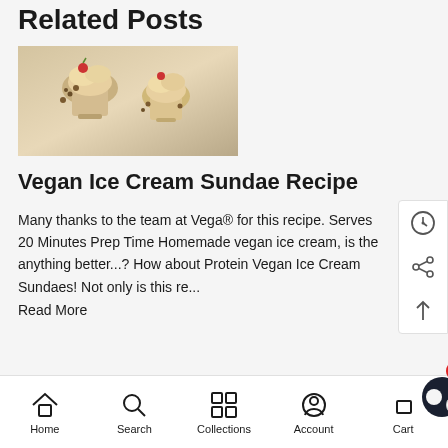Related Posts
[Figure (photo): Photo of vegan ice cream sundaes in glass cups with toppings including cherries and nuts on a light background]
Vegan Ice Cream Sundae Recipe
Many thanks to the team at Vega® for this recipe. Serves 20 Minutes Prep Time Homemade vegan ice cream, is the anything better...? How about Protein Vegan Ice Cream Sundaes! Not only is this re...
Read More
[Figure (photo): Partial photo of a salad or vegetable dish visible at bottom of page]
Home  Search  Collections  Account  Cart